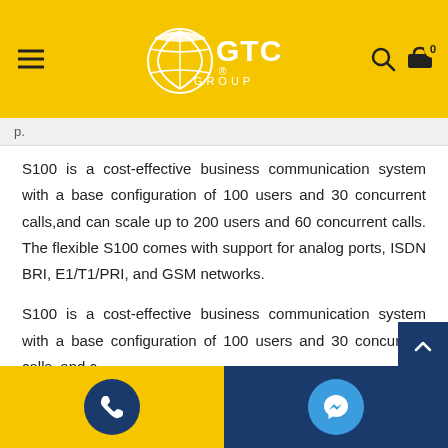[Figure (logo): GTC Group logo in yellow header with hamburger menu on left, search and cart icons on right showing 0 items]
p.
S100 is a cost-effective business communication system with a base configuration of 100 users and 30 concurrent calls,and can scale up to 200 users and 60 concurrent calls. The flexible S100 comes with support for analog ports, ISDN BRI, E1/T1/PRI, and GSM networks.
S100 is a cost-effective business communication system with a base configuration of 100 users and 30 concurrent calls, and can scale up to 200 users and 60 concurrent calls. The flexible S100
[Figure (infographic): Footer with yellow left half containing dark blue phone icon circle, and dark blue right half containing light blue Messenger icon circle]